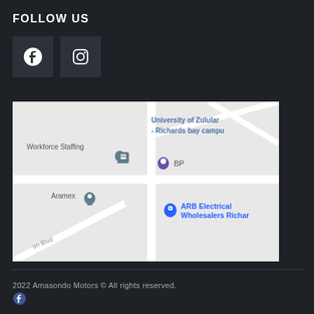FOLLOW US
[Figure (other): Facebook and Instagram social media icon buttons on dark background]
[Figure (map): Google Maps screenshot showing area near University of Zululand Richards Bay campus, with markers for Workforce Staffing, Aramex, BP, and ARB Electrical Wholesalers Richards Bay]
2022 Amasondo Motors © All rights reserved.